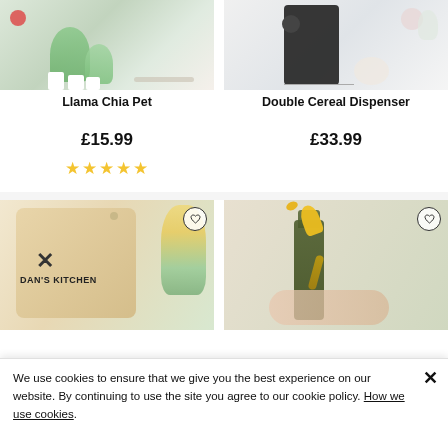[Figure (photo): Photo of Llama Chia Pet product on white background]
[Figure (photo): Photo of Double Cereal Dispenser with coffee machine on white background]
Llama Chia Pet
Double Cereal Dispenser
£15.99
£33.99
★★★★★ (5 stars)
[Figure (photo): Photo of a wooden cutting board engraved with DAN'S KITCHEN text with flowers in background]
[Figure (photo): Photo of a yellow figure bottle pourer on a dark wine bottle being poured]
We use cookies to ensure that we give you the best experience on our website. By continuing to use the site you agree to our cookie policy. How we use cookies.